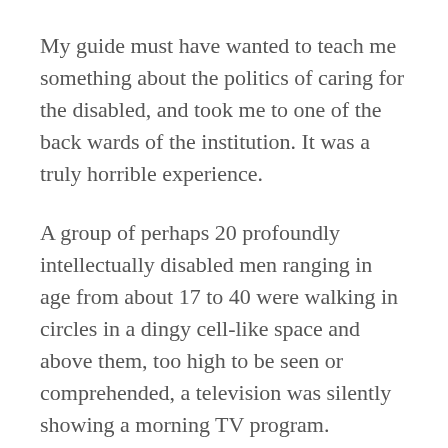My guide must have wanted to teach me something about the politics of caring for the disabled, and took me to one of the back wards of the institution. It was a truly horrible experience.
A group of perhaps 20 profoundly intellectually disabled men ranging in age from about 17 to 40 were walking in circles in a dingy cell-like space and above them, too high to be seen or comprehended, a television was silently showing a morning TV program.
They were dressed in similar unremarkable